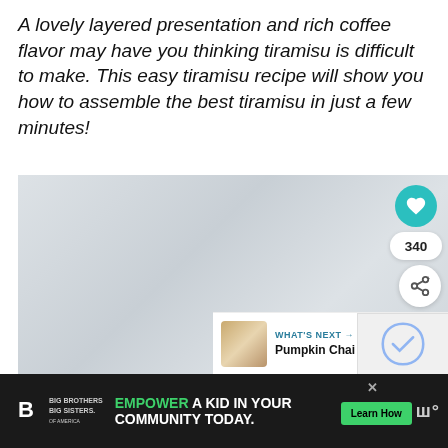A lovely layered presentation and rich coffee flavor may have you thinking tiramisu is difficult to make. This easy tiramisu recipe will show you how to assemble the best tiramisu in just a few minutes!
[Figure (photo): A light gray/white misty background photo area with social action buttons (heart/favorite button in teal showing 340 likes, and a share button). A 'What's Next' bar shows Pumpkin Chai Tiramisu with thumbnail.]
[Figure (other): Advertisement banner: Big Brothers Big Sisters logo on dark background with text 'EMPOWER A KID IN YOUR COMMUNITY TODAY.' and a green 'Learn How' button. Weather widget on right.]